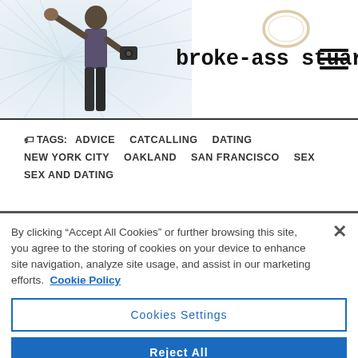broke-ass stuart
TAGS: ADVICE  CATCALLING  DATING  NEW YORK CITY  OAKLAND  SAN FRANCISCO  SEX  SEX AND DATING
By clicking “Accept All Cookies” or further browsing this site, you agree to the storing of cookies on your device to enhance site navigation, analyze site usage, and assist in our marketing efforts. Cookie Policy
Cookies Settings
Reject All
Accept All Cookies